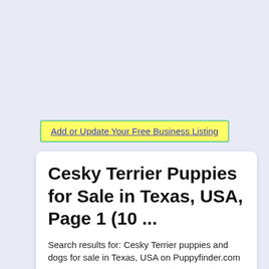Add or Update Your Free Business Listing
Cesky Terrier Puppies for Sale in Texas, USA, Page 1 (10 ...
Search results for: Cesky Terrier puppies and dogs for sale in Texas, USA on Puppyfinder.com
More